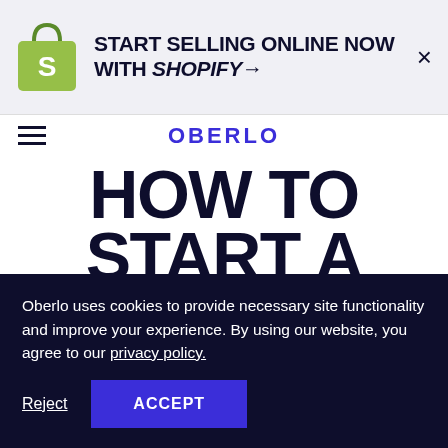[Figure (logo): Shopify bag logo in green with white S letter]
START SELLING ONLINE NOW WITH SHOPIFY→
×
OBERLO
HOW TO START A SUCCESSFUL ECOMMERCE BUSINESS
Oberlo uses cookies to provide necessary site functionality and improve your experience. By using our website, you agree to our privacy policy.
Reject
ACCEPT